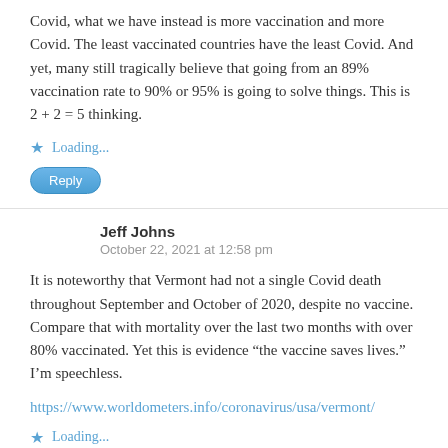Covid, what we have instead is more vaccination and more Covid. The least vaccinated countries have the least Covid. And yet, many still tragically believe that going from an 89% vaccination rate to 90% or 95% is going to solve things. This is 2 + 2 = 5 thinking.
Loading...
Reply
Jeff Johns
October 22, 2021 at 12:58 pm
It is noteworthy that Vermont had not a single Covid death throughout September and October of 2020, despite no vaccine. Compare that with mortality over the last two months with over 80% vaccinated. Yet this is evidence "the vaccine saves lives." I'm speechless.
https://www.worldometers.info/coronavirus/usa/vermont/
Loading...